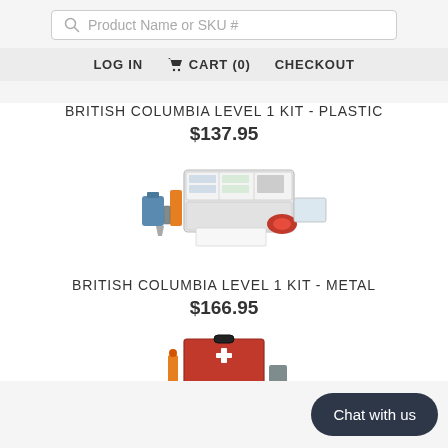Product Name or SKU #
LOG IN   CART (0)   CHECKOUT
BRITISH COLUMBIA LEVEL 1 KIT - PLASTIC
$137.95
[Figure (photo): First aid kit with plastic case open showing contents, including bandages, an orange triangular support, a blue bottle, a red roll, and other first aid supplies]
BRITISH COLUMBIA LEVEL 1 KIT - METAL
$166.95
[Figure (photo): Partial view of a red first aid kit (metal) with supplies visible at bottom of page]
Chat with us